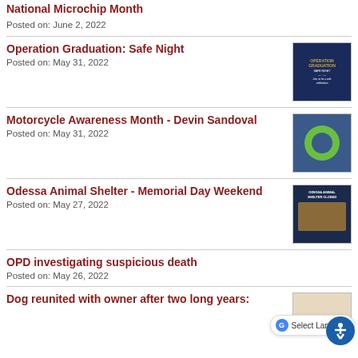National Microchip Month
Posted on: June 2, 2022
Operation Graduation: Safe Night
Posted on: May 31, 2022
[Figure (photo): Operation Graduation event flyer with dark blue background and graduation cap graphic]
Motorcycle Awareness Month - Devin Sandoval
Posted on: May 31, 2022
[Figure (photo): Colorful image with green ring/circle on blue background, likely a decorative or event photo]
Odessa Animal Shelter - Memorial Day Weekend
Posted on: May 27, 2022
[Figure (photo): Animal shelter closed sign with dogs in background]
OPD investigating suspicious death
Posted on: May 26, 2022
Dog reunited with owner after two long years:
[Figure (photo): Photo of person with dog, partial view]